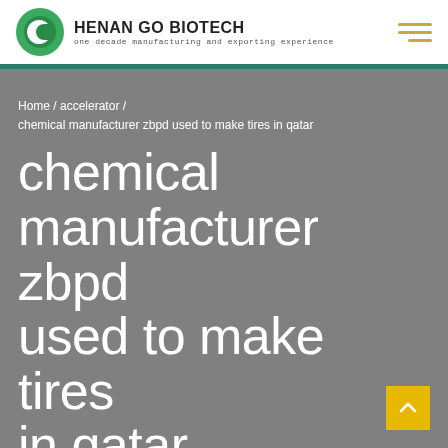[Figure (logo): Henan Go Biotech logo with green circular icon and company name and tagline]
Home / accelerator / chemical manufacturer zbpd used to make tires in qatar
chemical manufacturer zbpd used to make tires in qatar